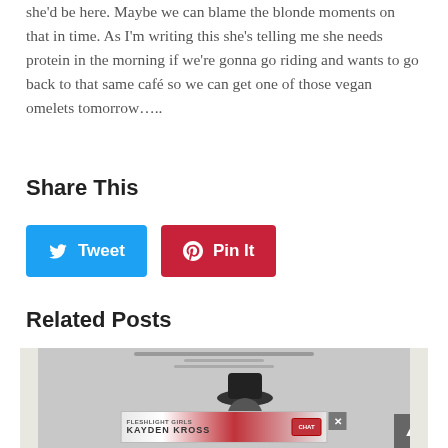she'd be here. Maybe we can blame the blonde moments on that in time. As I'm writing this she's telling me she needs protein in the morning if we're gonna go riding and wants to go back to that same café so we can get one of those vegan omelets tomorrow…..
Share This
[Figure (other): Tweet button (blue) and Pin It button (red/crimson) social sharing buttons]
Related Posts
[Figure (photo): Related post thumbnail image showing a gray illustrated poster with a figure wearing a hat, with an ad overlay banner reading FLESHLIGHT GIRLS KAYDEN KROSS and a close button, plus a scroll-to-top arrow button in the bottom right]